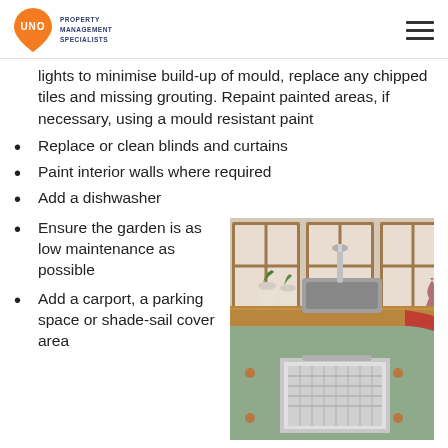UNO Property Management Specialists
lights to minimise build-up of mould, replace any chipped tiles and missing grouting. Repaint painted areas, if necessary, using a mould resistant paint
Replace or clean blinds and curtains
Paint interior walls where required
Add a dishwasher
Ensure the garden is as low maintenance as possible
Add a carport, a parking space or shade-sail cover area
[Figure (photo): A kitchen with mint-green cabinets and wooden countertop, featuring a dishwasher open at the base, a chrome tap/faucet, and potted herbs on the counter.]